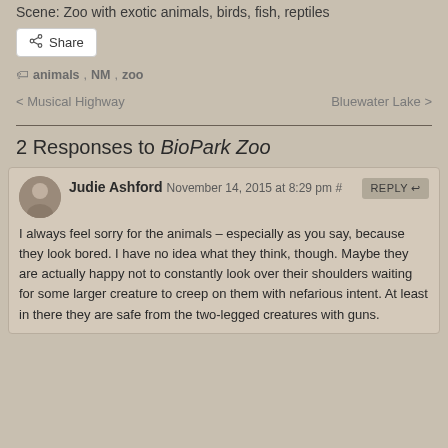Scene: Zoo with exotic animals, birds, fish, reptiles
Share
animals, NM, zoo
< Musical Highway   Bluewater Lake >
2 Responses to BioPark Zoo
Judie Ashford November 14, 2015 at 8:29 pm #  REPLY
I always feel sorry for the animals – especially as you say, because they look bored. I have no idea what they think, though. Maybe they are actually happy not to constantly look over their shoulders waiting for some larger creature to creep on them with nefarious intent. At least in there they are safe from the two-legged creatures with guns.